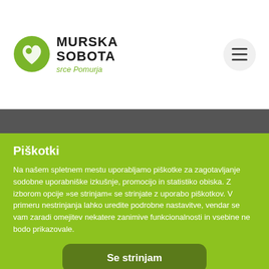[Figure (logo): Murska Sobota srce Pomurja city logo with green circular emblem and text]
PRIJAVA NA E-NOVICE
Piškotki
Na našem spletnem mestu uporabljamo piškotke za zagotavljanje sodobne uporabniške izkušnje, promocijo in statistiko obiska. Z izborom opcije »se strinjam« se strinjate z uporabo piškotkov. V primeru nestrinjanja lahko uredite podrobne nastavitve, vendar se vam zaradi omejitev nekatere zanimive funkcionalnosti in vsebine ne bodo prikazovale.
Se strinjam
ali
Podrobne nastavitve